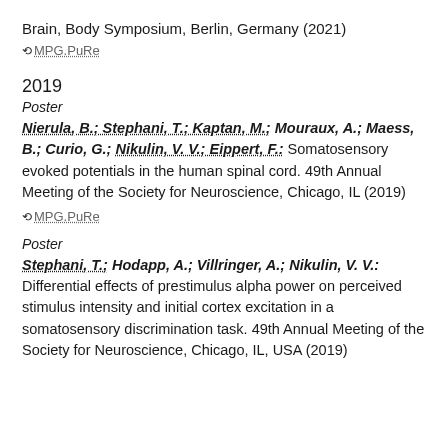Brain, Body Symposium, Berlin, Germany (2021)
MPG.PuRe
2019
Poster
Nierula, B.; Stephani, T.; Kaptan, M.; Mouraux, A.; Maess, B.; Curio, G.; Nikulin, V. V.; Eippert, F.: Somatosensory evoked potentials in the human spinal cord. 49th Annual Meeting of the Society for Neuroscience, Chicago, IL (2019)
MPG.PuRe
Poster
Stephani, T.; Hodapp, A.; Villringer, A.; Nikulin, V. V.: Differential effects of prestimulus alpha power on perceived stimulus intensity and initial cortex excitation in a somatosensory discrimination task. 49th Annual Meeting of the Society for Neuroscience, Chicago, IL, USA (2019)